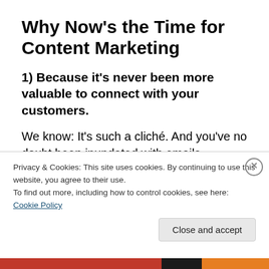Why Now’s the Time for Content Marketing
1) Because it’s never been more valuable to connect with your customers.
We know: It’s such a cliché. And you’ve no doubt been inundated with emails beginning with “in these unprecedented times
Privacy & Cookies: This site uses cookies. By continuing to use this website, you agree to their use.
To find out more, including how to control cookies, see here: Cookie Policy
Close and accept